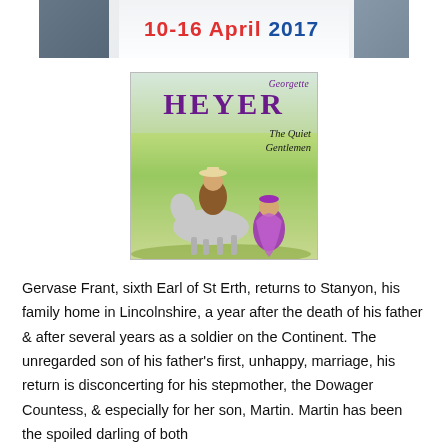[Figure (illustration): Banner graphic showing '10-16 April 2017' text over a photographic background, partially visible at top of page]
[Figure (illustration): Book cover for 'The Quiet Gentlemen' by Georgette Heyer, showing a man on horseback in period costume and a woman in a purple dress looking up at him, with a yellow-green countryside background]
Gervase Frant, sixth Earl of St Erth, returns to Stanyon, his family home in Lincolnshire, a year after the death of his father & after several years as a soldier on the Continent. The unregarded son of his father's first, unhappy, marriage, his return is disconcerting for his stepmother, the Dowager Countess, & especially for her son, Martin. Martin has been the spoiled darling of both